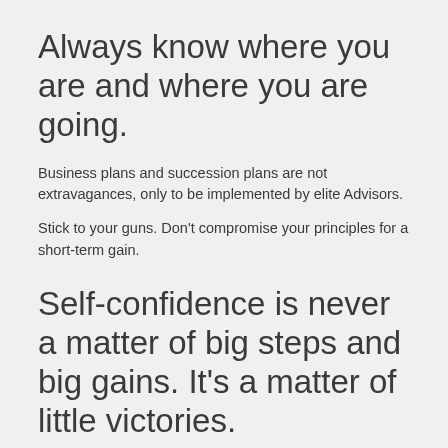Always know where you are and where you are going.
Business plans and succession plans are not extravagances, only to be implemented by elite Advisors.
Stick to your guns. Don’t compromise your principles for a short-term gain.
Self-confidence is never a matter of big steps and big gains. It’s a matter of little victories.
Accomplish one small thing and build on that.
You know that if people save a little bit of money each